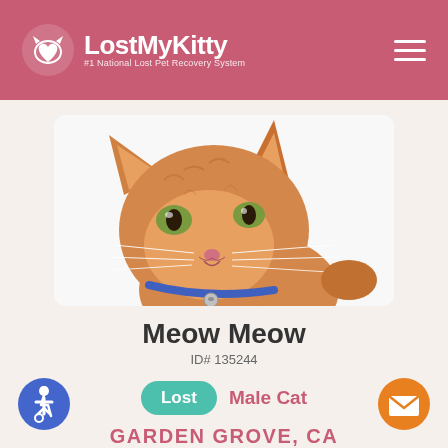LostMyKitty — #1 National Lost Pet Recovery System
[Figure (photo): Close-up photo of an orange tabby cat wearing a blue collar with a bell, looking at camera against a white background]
Meow Meow
ID# 135244
Lost  Male Cat
GARDEN GROVE, CA